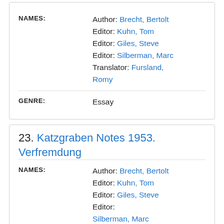| Field | Value |
| --- | --- |
| NAMES: | Author: Brecht, Bertolt
Editor: Kuhn, Tom
Editor: Giles, Steve
Editor: Silberman, Marc
Translator: Fursland, Romy |
| GENRE: | Essay |
23. Katzgraben Notes 1953. Verfremdung
| Field | Value |
| --- | --- |
| NAMES: | Author: Brecht, Bertolt
Editor: Kuhn, Tom
Editor: Giles, Steve
Editor: Silberman, Marc |